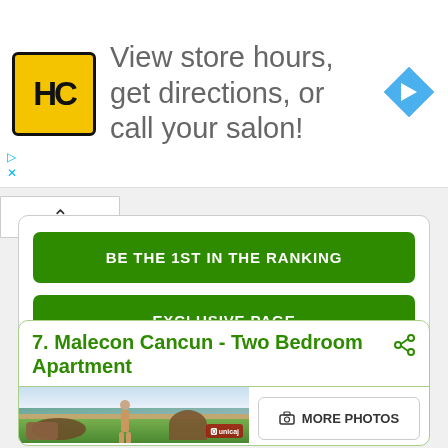[Figure (screenshot): Advertisement banner with HC (Hair Club) logo, text 'View store hours, get directions, or call your salon!' and a blue navigation arrow icon. Small ad controls (play and close/X) in lower left.]
[Figure (screenshot): Collapse/chevron-up button bar at top left of main content area.]
[Figure (screenshot): Green button labeled 'BE THE 1ST IN THE RANKING']
[Figure (screenshot): Green button labeled 'EXCLUSIVE PAGE']
7. Malecon Cancun - Two Bedroom Apartment
[Figure (photo): Photo of a person standing on a balcony overlooking a tropical waterfront view with green grounds and water in background. Patio furniture visible in foreground. Small red watermark logo in lower right.]
[Figure (screenshot): Button labeled 'MORE PHOTOS' with camera icon]